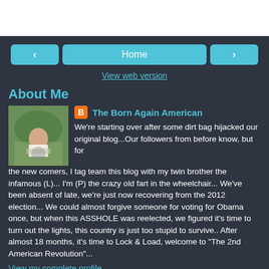[Figure (screenshot): White header bar at top of page]
< Home >
View web version
About Me
[Figure (photo): Person in wheelchair on outdoor path with greenery]
The Born Again American
We're starting over after some dirt bag hijacked our original blog...Our followers from before know, but for the new comers, I tag team this blog with my twin brother the infamous (L)... I'm (P) the crazy old fart in the wheelchair... We've been absent of late, we're just now recovering from the 2012 election... We could almost forgive someone for voting for Obama once, but when this ASSHOLE was reelected, we figured it's time to turn out the lights, this country is just too stupid to survive.. After almost 18 months, it's time to Lock & Load, welcome to "The 2nd American Revolution"...
View my complete profile